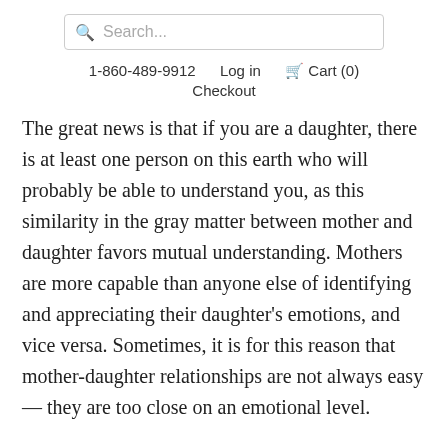[Figure (screenshot): Search bar with magnifying glass icon and placeholder text 'Search...']
1-860-489-9912   Log in   Cart (0)
Checkout
The great news is that if you are a daughter, there is at least one person on this earth who will probably be able to understand you, as this similarity in the gray matter between mother and daughter favors mutual understanding. Mothers are more capable than anyone else of identifying and appreciating their daughter's emotions, and vice versa. Sometimes, it is for this reason that mother-daughter relationships are not always easy — they are too close on an emotional level.